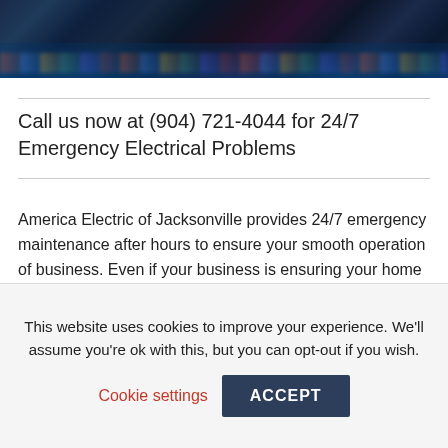[Figure (photo): Nighttime cityscape or waterfront photo with colorful lights reflected on water, dark blue and purple tones]
Call us now at (904) 721-4044 for 24/7 Emergency Electrical Problems
America Electric of Jacksonville provides 24/7 emergency maintenance after hours to ensure your smooth operation of business. Even if your business is ensuring your home electrical system runs right.
The last thing you need is to worry if your electrical contractor will be there for you in a pinch. Don't get stuck with a nonresponsive electrical contractor or service
This website uses cookies to improve your experience. We'll assume you're ok with this, but you can opt-out if you wish.